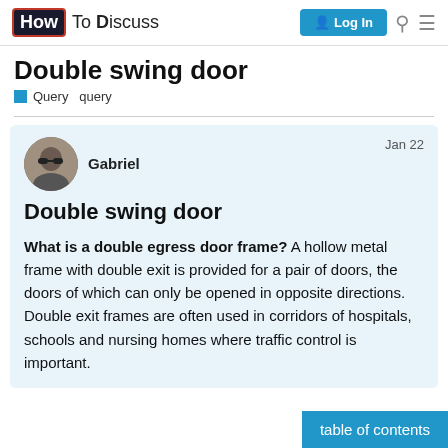HowToDiscuss — Log In
Double swing door
Query   query
Gabriel   Jan 22
Double swing door
What is a double egress door frame? A hollow metal frame with double exit is provided for a pair of doors, the doors of which can only be opened in opposite directions. Double exit frames are often used in corridors of hospitals, schools and nursing homes where traffic control is important.
table of contents